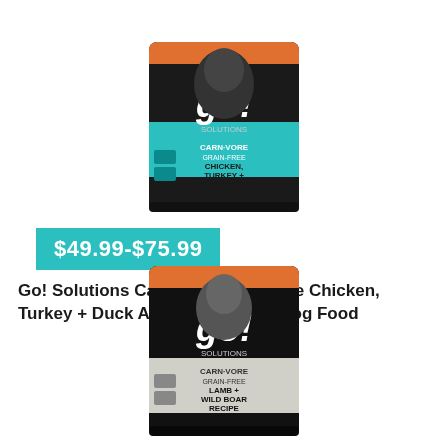[Figure (photo): Go! Solutions Carnivore Grain-Free Chicken, Turkey + Duck dry dog food bag with teal and orange accents and image of a dog]
$49.99-$75.99
Go! Solutions Carnivore Grain-Free Chicken, Turkey + Duck Adult Recipe Dry Dog Food
[Figure (photo): Go! Solutions Carnivore Grain-Free Lamb + Wild Boar dry dog food bag in dark packaging with image of a wolf/husky]
$...–$...